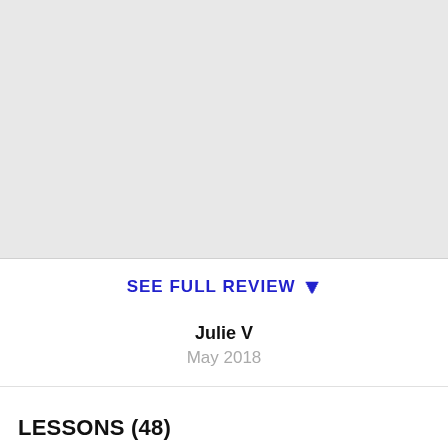[Figure (other): Gray placeholder area for a review or image content]
SEE FULL REVIEW ▼
Julie V
May 2018
LESSONS (48)